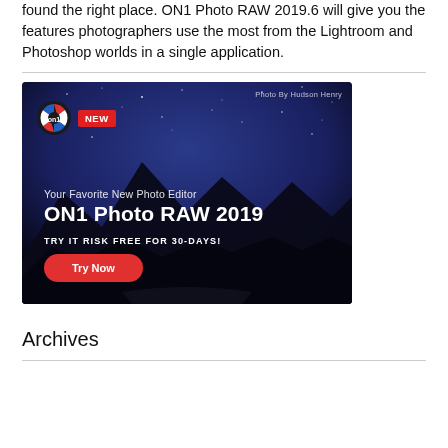found the right place. ON1 Photo RAW 2019.6 will give you the features photographers use the most from the Lightroom and Photoshop worlds in a single application.
[Figure (illustration): Advertisement banner for ON1 Photo RAW 2019. Dark blue mountain night sky background with stars. ON1 logo (circular camera aperture design in red/white/blue) with red NEW badge. Text: 'Photo By Hudson Henry', 'Your Favorite New Photo Editor', 'ON1 Photo RAW 2019', 'TRY IT RISK FREE FOR 30-DAYS!', and a red 'Try Now' button.]
Archives